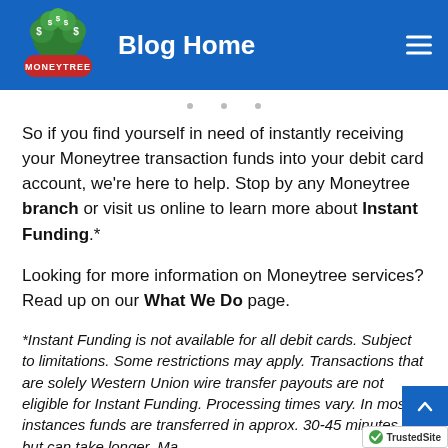Blog Home
So if you find yourself in need of instantly receiving your Moneytree transaction funds into your debit card account, we're here to help. Stop by any Moneytree branch or visit us online to learn more about Instant Funding.*
Looking for more information on Moneytree services? Read up on our What We Do page.
*Instant Funding is not available for all debit cards. Subject to limitations. Some restrictions may apply. Transactions that are solely Western Union wire transfer payouts are not eligible for Instant Funding. Processing times vary. In most instances funds are transferred in approx. 30-45 minutes, but can take longer. Ma...